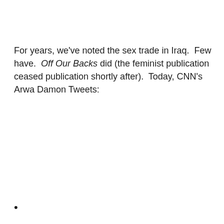For years, we've noted the sex trade in Iraq.  Few have.  Off Our Backs did (the feminist publication ceased publication shortly after).  Today, CNN's Arwa Damon Tweets:
•